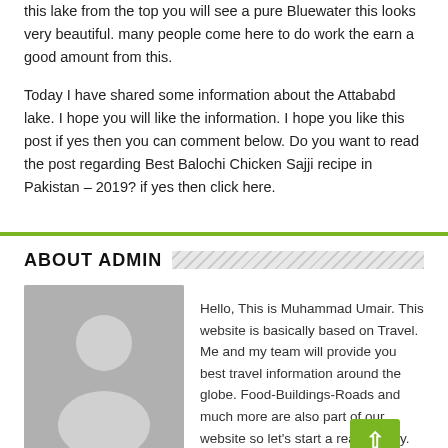this lake from the top you will see a pure Bluewater this looks very beautiful. many people come here to do work the earn a good amount from this.
Today I have shared some information about the Attababd lake. I hope you will like the information. I hope you like this post if yes then you can comment below. Do you want to read the post regarding Best Balochi Chicken Sajji recipe in Pakistan – 2019? if yes then click here.
ABOUT ADMIN
[Figure (illustration): Grey placeholder avatar icon showing a silhouette of a person]
Hello, This is Muhammad Umair. This website is basically based on Travel. Me and my team will provide you best travel information around the globe. Food-Buildings-Roads and much more are also part of our website so let's start a real journey.